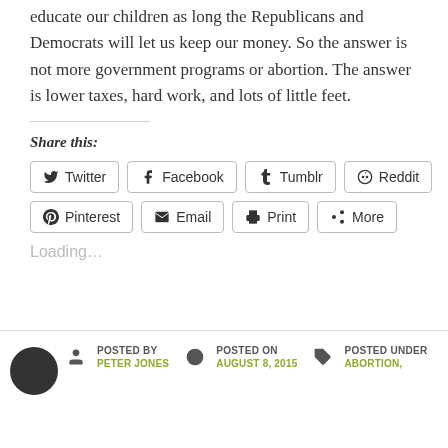educate our children as long the Republicans and Democrats will let us keep our money.  So the answer is not more government programs or abortion. The answer is lower taxes, hard work, and lots of little feet.
Share this:
[Figure (screenshot): Social share buttons: Twitter, Facebook, Tumblr, Reddit, Pinterest, Email, Print, More]
Loading…
POSTED BY PETER JONES | POSTED ON AUGUST 8, 2015 | POSTED UNDER ABORTION,